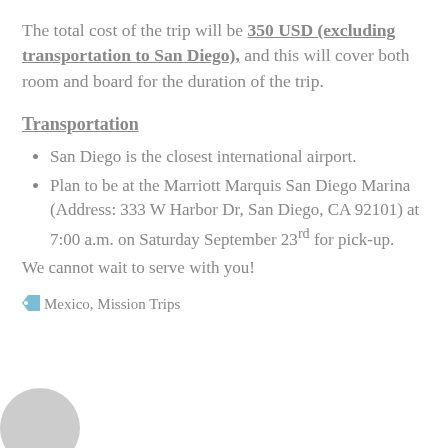The total cost of the trip will be 350 USD (excluding transportation to San Diego), and this will cover both room and board for the duration of the trip.
Transportation
San Diego is the closest international airport.
Plan to be at the Marriott Marquis San Diego Marina (Address: 333 W Harbor Dr, San Diego, CA 92101) at 7:00 a.m. on Saturday September 23rd for pick-up.
We cannot wait to serve with you!
Mexico, Mission Trips